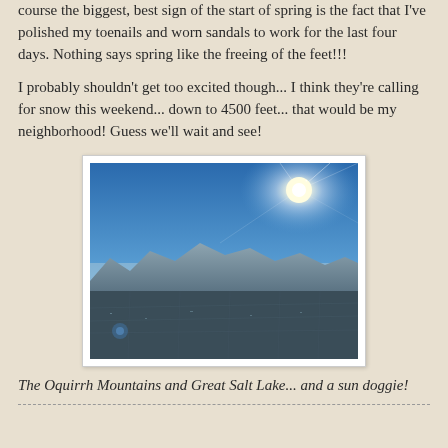course the biggest, best sign of the start of spring is the fact that I've polished my toenails and worn sandals to work for the last four days. Nothing says spring like the freeing of the feet!!!
I probably shouldn't get too excited though... I think they're calling for snow this weekend... down to 4500 feet... that would be my neighborhood! Guess we'll wait and see!
[Figure (photo): Aerial photograph showing the Oquirrh Mountains and Great Salt Lake under a bright blue sky with the sun and a sun dog visible in the upper right corner. The urban sprawl of Salt Lake Valley is visible below.]
The Oquirrh Mountains and Great Salt Lake... and a sun doggie!